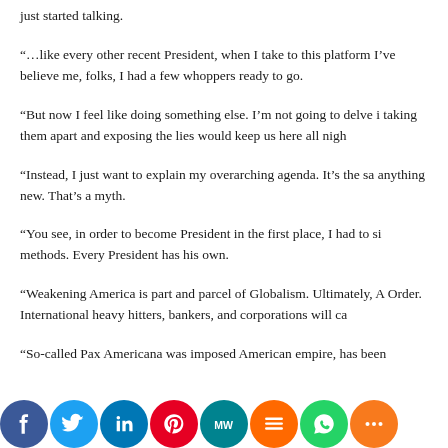just started talking.
“…like every other recent President, when I take to this platform I’ve believe me, folks, I had a few whoppers ready to go.
“But now I feel like doing something else. I’m not going to delve i taking them apart and exposing the lies would keep us here all nigh
“Instead, I just want to explain my overarching agenda. It’s the sa anything new. That’s a myth.
“You see, in order to become President in the first place, I had to si methods. Every President has his own.
“Weakening America is part and parcel of Globalism. Ultimately, A Order. International heavy hitters, bankers, and corporations will ca
“So-called Pax Americana was imposed American empire, has been